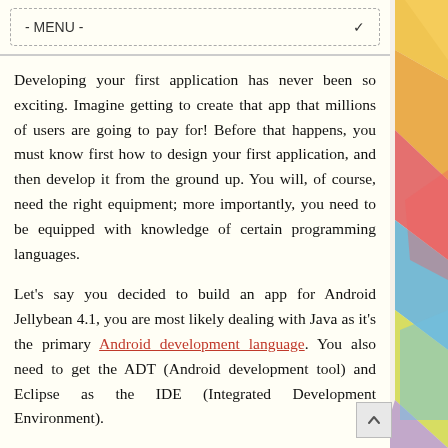- MENU -
Developing your first application has never been so exciting. Imagine getting to create that app that millions of users are going to pay for! Before that happens, you must know first how to design your first application, and then develop it from the ground up. You will, of course, need the right equipment; more importantly, you need to be equipped with knowledge of certain programming languages.
Let's say you decided to build an app for Android Jellybean 4.1, you are most likely dealing with Java as it's the primary Android development language. You also need to get the ADT (Android development tool) and Eclipse as the IDE (Integrated Development Environment).
You also have to test your app for bugs. Android debugging can be a pain if you don't have the device to